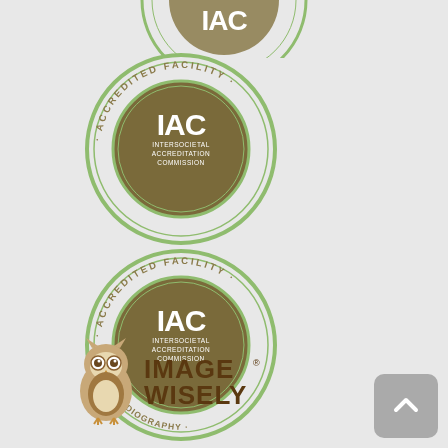[Figure (logo): IAC Intersocietal Accreditation Commission - Accredited Facility - Nuclear Cardiology badge (partially visible at top)]
[Figure (logo): IAC Intersocietal Accreditation Commission - Accredited Facility - CT badge (circular green and brown seal)]
[Figure (logo): IAC Intersocietal Accreditation Commission - Accredited Facility - Echocardiography badge (circular green and brown seal)]
[Figure (logo): Image Wisely logo with owl icon and text IMAGE WISELY]